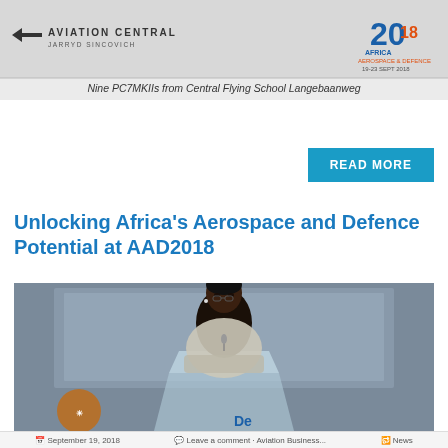[Figure (photo): Aviation Central header banner with logo on left, AAD 2018 Africa Aerospace and Defence logo on right, with text 'JARRYD SINCOVICH' below the main logo]
Nine PC7MKIIs from Central Flying School Langebaanweg
READ MORE
Unlocking Africa's Aerospace and Defence Potential at AAD2018
[Figure (photo): A woman speaking at a podium with a glass lectern, South African coat of arms visible in the background, 'De' text visible at the bottom of a blue display screen]